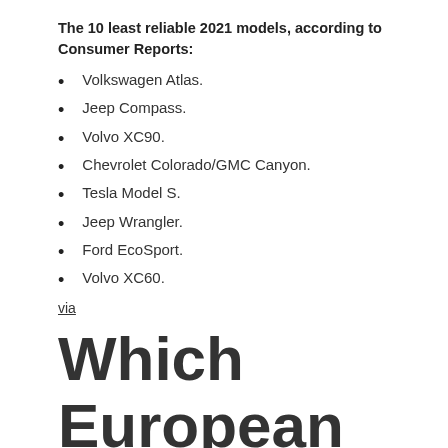The 10 least reliable 2021 models, according to Consumer Reports:
Volkswagen Atlas.
Jeep Compass.
Volvo XC90.
Chevrolet Colorado/GMC Canyon.
Tesla Model S.
Jeep Wrangler.
Ford EcoSport.
Volvo XC60.
via
Which European car is